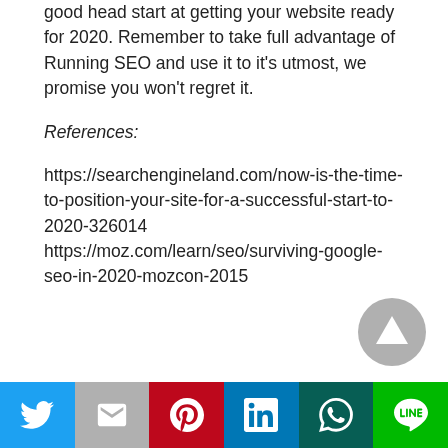good head start at getting your website ready for 2020. Remember to take full advantage of Running SEO and use it to it's utmost, we promise you won't regret it.
References:
https://searchengineland.com/now-is-the-time-to-position-your-site-for-a-successful-start-to-2020-326014 https://moz.com/learn/seo/surviving-google-seo-in-2020-mozcon-2015
[Figure (other): Scroll-to-top arrow button, circular grey icon with upward triangle]
Social share bar with Twitter, Gmail, Pinterest, LinkedIn, WhatsApp, LINE icons